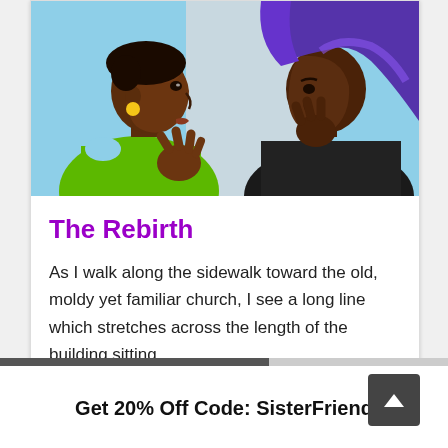[Figure (illustration): Digital illustration showing two Black women: one in profile view on the left wearing a green top, the other on the right facing slightly away wearing black, with blue-purple hair, against a light blue background.]
The Rebirth
As I walk along the sidewalk toward the old, moldy yet familiar church, I see a long line which stretches across the length of the building sitting
[...]
Get 20% Off Code: SisterFriend